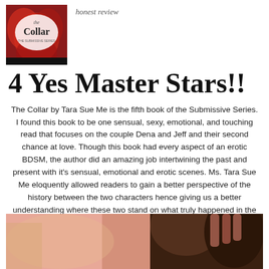[Figure (photo): Book cover of 'The Collar' from The Submissive Series, with red flower imagery]
honest review
4 Yes Master Stars!!
The Collar by Tara Sue Me is the fifth book of the Submissive Series. I found this book to be one sensual, sexy, emotional, and touching read that focuses on the couple Dena and Jeff and their second chance at love. Though this book had every aspect of an erotic BDSM, the author did an amazing job intertwining the past and present with it's sensual, emotional and erotic scenes. Ms. Tara Sue Me eloquently allowed readers to gain a better perspective of the history between the two characters hence giving us a better understanding where these two stand on what truly happened in the past between them.
[Figure (photo): Partial photo of a woman with dark hair against a pinkish-red background]